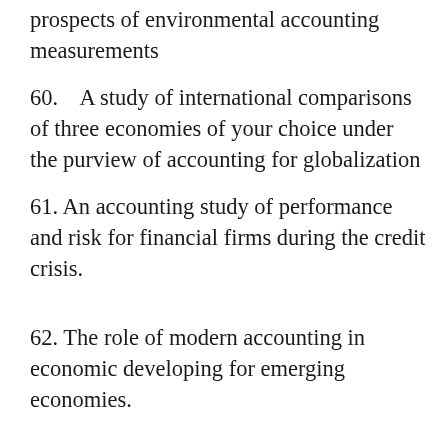prospects of environmental accounting measurements
60.    A study of international comparisons of three economies of your choice under the purview of accounting for globalization
61. An accounting study of performance and risk for financial firms during the credit crisis.
62. The role of modern accounting in economic developing for emerging economies.